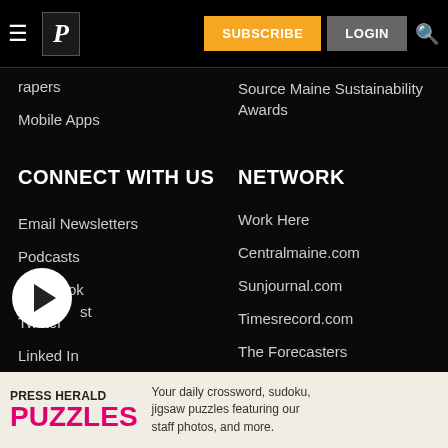SUBSCRIBE LOGIN
papers
Mobile Apps
CONNECT WITH US
Email Newsletters
Podcasts
Facebook
Twitter
Linked In
Instagram
Source Maine Sustainability Awards
NETWORK
Work Here
Centralmaine.com
Sunjournal.com
Timesrecord.com
The Forecasters
Mainely Media Weeklies
Varsity Maine
PRESS HERALD PUZZLES — Your daily crossword, sudoku, jigsaw puzzles featuring our staff photos, and more.